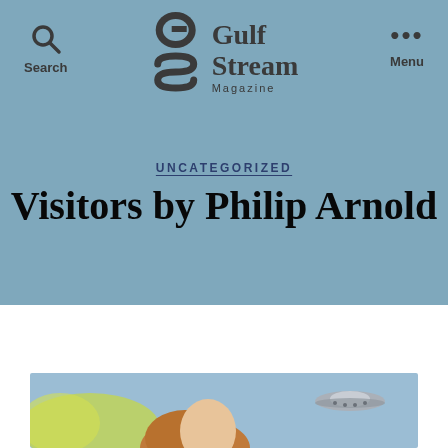Gulf Stream Magazine
UNCATEGORIZED
Visitors by Philip Arnold
[Figure (illustration): Painting showing a woman with auburn hair in the foreground, with a flying saucer/UFO in the upper right, set against a blue and yellow cloudy background.]